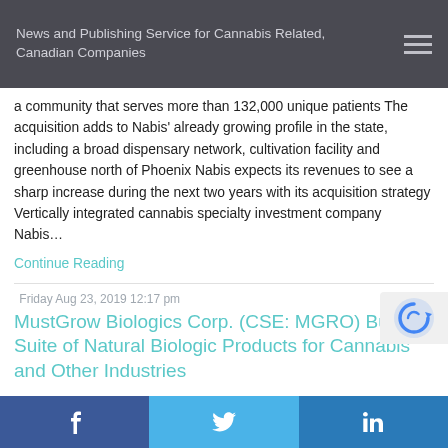News and Publishing Service for Cannabis Related, Canadian Companies
a community that serves more than 132,000 unique patients The acquisition adds to Nabis' already growing profile in the state, including a broad dispensary network, cultivation facility and greenhouse north of Phoenix Nabis expects its revenues to see a sharp increase during the next two years with its acquisition strategy Vertically integrated cannabis specialty investment company Nabis...
Continue Reading
Friday Aug 23, 2019 12:17 pm
MustGrow Biologics Corp. (CSE: MGRO) Building Suite of Natural Biologic Products for Cannabis and Other Industries
MustGrow Biologics is developing mustard-based pest control products that can be sold on an industrial scale to help cannabis, fruit & vegetable, turf & ornamental and tobacco producers. MustGrow's non-synthetic focus on alternatives to chemical pesticides grants it a position of responsibility during an e...
f   t   in